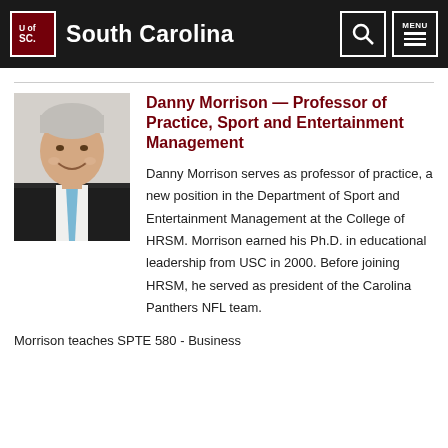South Carolina
[Figure (photo): Headshot photo of Danny Morrison, a smiling man with grey hair wearing a dark suit and light blue tie]
Danny Morrison — Professor of Practice, Sport and Entertainment Management
Danny Morrison serves as professor of practice, a new position in the Department of Sport and Entertainment Management at the College of HRSM. Morrison earned his Ph.D. in educational leadership from USC in 2000. Before joining HRSM, he served as president of the Carolina Panthers NFL team.
Morrison teaches SPTE 580 - Business